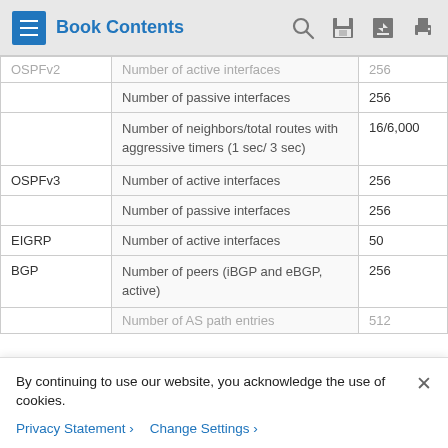Book Contents
| Protocol | Parameter | Value |
| --- | --- | --- |
| OSPFv2 | Number of active interfaces (partial/cut off) | 256 (partial) |
|  | Number of passive interfaces | 256 |
|  | Number of neighbors/total routes with aggressive timers (1 sec/ 3 sec) | 16/6,000 |
| OSPFv3 | Number of active interfaces | 256 |
|  | Number of passive interfaces | 256 |
| EIGRP | Number of active interfaces | 50 |
| BGP | Number of peers (iBGP and eBGP, active) | 256 |
|  | Number of AS path entries (partial) | 512 |
By continuing to use our website, you acknowledge the use of cookies.
Privacy Statement > Change Settings >